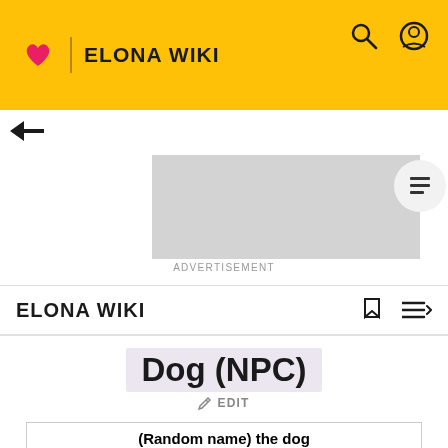ELONA WIKI
[Figure (screenshot): Gray advertisement placeholder block]
ADVERTISEMENT
ELONA WIKI
Dog (NPC)
EDIT
| (Random name) the dog |
| --- |
| [dog image] |